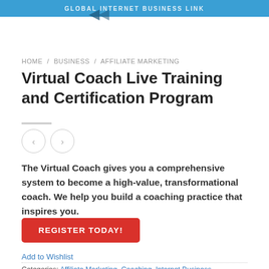GLOBAL INTERNET BUSINESS LINK
HOME / BUSINESS / AFFILIATE MARKETING
Virtual Coach Live Training and Certification Program
The Virtual Coach gives you a comprehensive system to become a high-value, transformational coach. We help you build a coaching practice that inspires you.
REGISTER TODAY!
Add to Wishlist
Categories: Affiliate Marketing, Coaching, Internet Business